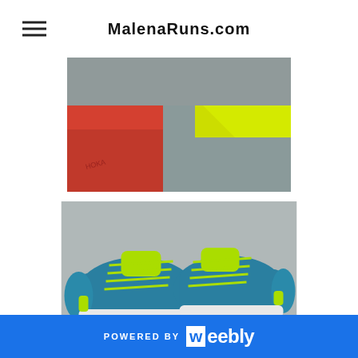MalenaRuns.com
[Figure (photo): Close-up photo of running shoe soles showing red and neon yellow/green colors against a gray surface]
[Figure (photo): Pair of teal/blue HOKA running shoes with neon yellow-green laces and accents, displayed on top of a blue shoebox on a gray surface]
POWERED BY weebly